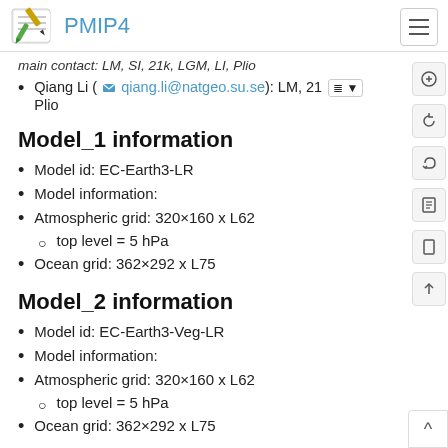PMIP4
Main contact: LM, SI, 21k, LGM, LI, Plio (truncated)
Qiang Li (qiang.li@natgeo.su.se): LM, 21... Plio
Model_1 information
Model id: EC-Earth3-LR
Model information:
Atmospheric grid: 320×160 x L62
top level = 5 hPa
Ocean grid: 362×292 x L75
Model_2 information
Model id: EC-Earth3-Veg-LR
Model information:
Atmospheric grid: 320×160 x L62
top level = 5 hPa
Ocean grid: 362×292 x L75